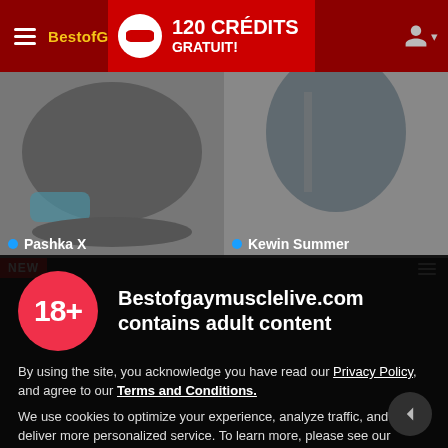BestofGayMuscleLive — 120 CRÉDITS GRATUIT!
[Figure (screenshot): Left thumbnail showing a person lying on a floor, labeled Pashka X with blue dot]
[Figure (screenshot): Right thumbnail showing a person standing outdoors, labeled Kewin Summer with blue dot]
NEW
Bestofgaymusclelive.com contains adult content
By using the site, you acknowledge you have read our Privacy Policy, and agree to our Terms and Conditions.
We use cookies to optimize your experience, analyze traffic, and deliver more personalized service. To learn more, please see our Privacy Policy.
I AGREE